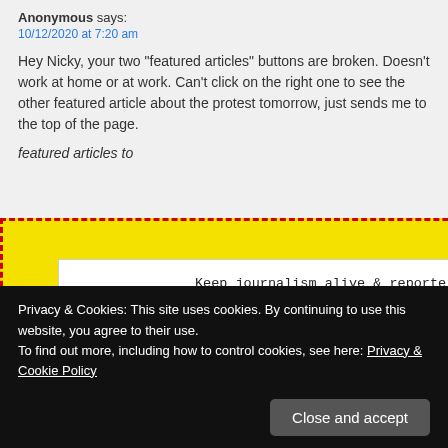Anonymous says:
10/12/2020 at 7:20 am
Hey Nicky, your two “featured articles” buttons are broken. Doesn’t work at home or at work. Can’t click on the right one to see the other featured article about the protest tomorrow, just sends me to the top of the page.
[Figure (screenshot): Popup overlay with yellow dashed border containing a white box with text 'Keep journalism alive & reporters awake' and 'Buy a cup of coffee for the CNS team' with a coffee cup illustration. An X close button appears in the top-right corner of the yellow area.]
featured articles to
Privacy & Cookies: This site uses cookies. By continuing to use this website, you agree to their use.
To find out more, including how to control cookies, see here: Privacy & Cookie Policy
Close and accept